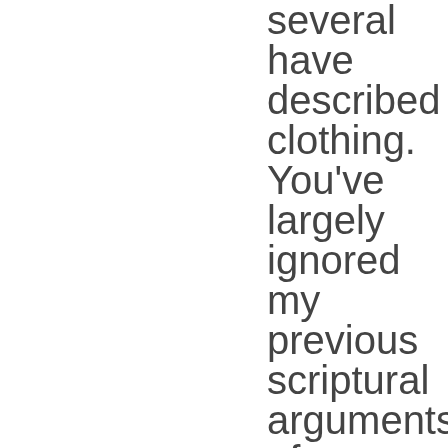several have described clothing. You've largely ignored my previous scriptural arguments of the body being a tabernacle. And in Mormonism specifically in our more holy place, we